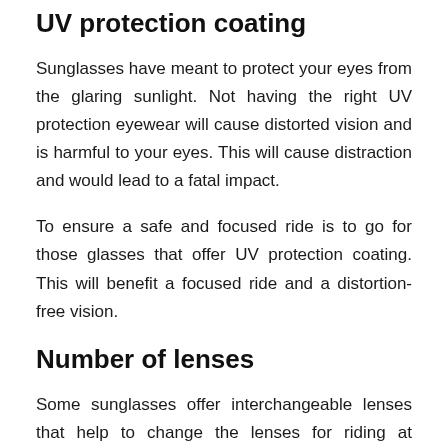UV protection coating
Sunglasses have meant to protect your eyes from the glaring sunlight. Not having the right UV protection eyewear will cause distorted vision and is harmful to your eyes. This will cause distraction and would lead to a fatal impact.
To ensure a safe and focused ride is to go for those glasses that offer UV protection coating. This will benefit a focused ride and a distortion-free vision.
Number of lenses
Some sunglasses offer interchangeable lenses that help to change the lenses for riding at different times of the day. This is crucial if you right at night often. When buying a suitable pair, do check to see the number of lenses available.